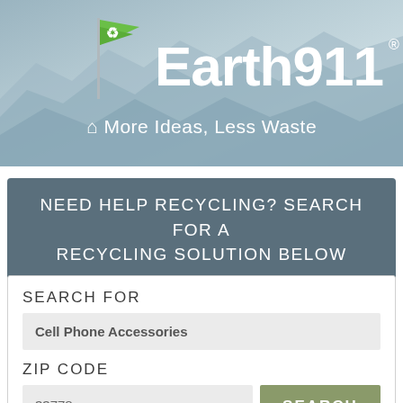[Figure (logo): Earth911 website header banner with mountain background, green recycling flag logo, and tagline 'More Ideas, Less Waste']
NEED HELP RECYCLING? SEARCH FOR A RECYCLING SOLUTION BELOW
SEARCH FOR
Cell Phone Accessories
ZIP CODE
33778
SEARCH